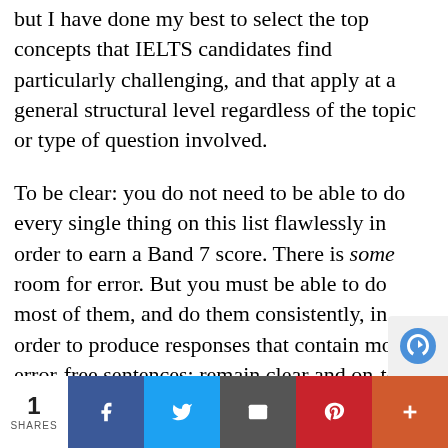but I have done my best to select the top concepts that IELTS candidates find particularly challenging, and that apply at a general structural level regardless of the topic or type of question involved.
To be clear: you do not need to be able to do every single thing on this list flawlessly in order to earn a Band 7 score. There is some room for error. But you must be able to do most of them, and do them consistently, in order to produce responses that contain mostly error-free sentences; remain clear and on-topic throughout; and are sufficiently cohesiv
1 SHARES | Facebook | Twitter | Email | Pinterest | +